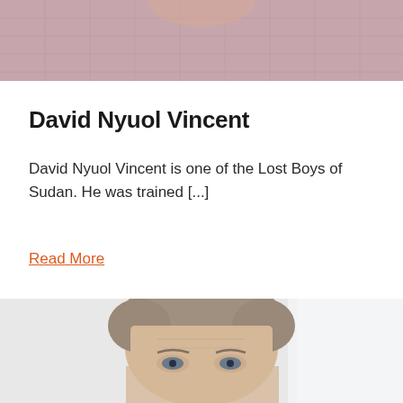[Figure (photo): Cropped photo of a person wearing a pink/red checkered shirt, showing the torso and lower face area only.]
David Nyuol Vincent
David Nyuol Vincent is one of the Lost Boys of Sudan. He was trained [...]
Read More
[Figure (photo): Portrait photo of a middle-aged man with gray-brown hair, looking slightly upward, with a light blurred background.]